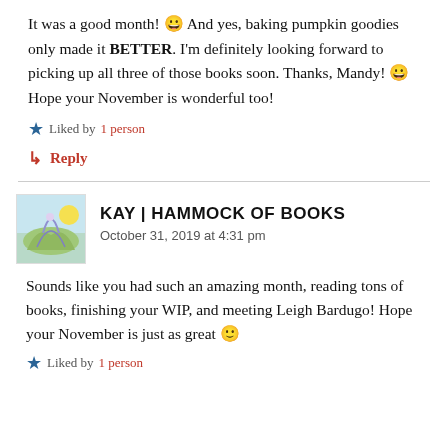It was a good month! 😀 And yes, baking pumpkin goodies only made it BETTER. I'm definitely looking forward to picking up all three of those books soon. Thanks, Mandy! 😀 Hope your November is wonderful too!
★ Liked by 1 person
↳ Reply
KAY | HAMMOCK OF BOOKS
October 31, 2019 at 4:31 pm
Sounds like you had such an amazing month, reading tons of books, finishing your WIP, and meeting Leigh Bardugo! Hope your November is just as great 🙂
★ Liked by 1 person